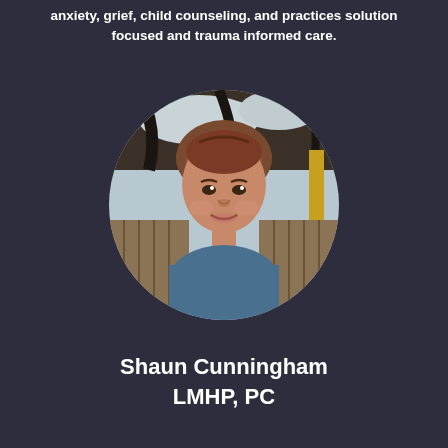anxiety, grief, child counseling, and practices solution focused and trauma informed care.
[Figure (photo): Circular headshot photo of Shaun Cunningham, a woman with short brown hair, smiling, photographed outdoors near a wooden fence with trees in the background.]
Shaun Cunningham
LMHP, PC